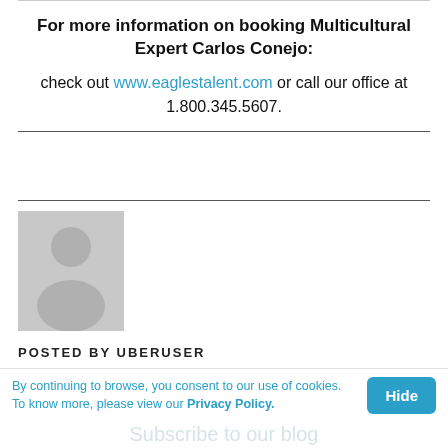For more information on booking Multicultural Expert Carlos Conejo: check out www.eaglestalent.com or call our office at 1.800.345.5607.
[Figure (illustration): Gray placeholder avatar image showing a generic user silhouette (head and shoulders) on a light gray background.]
POSTED BY UBERUSER
By continuing to browse, you consent to our use of cookies. To know more, please view our Privacy Policy.
Subscribe to our blog